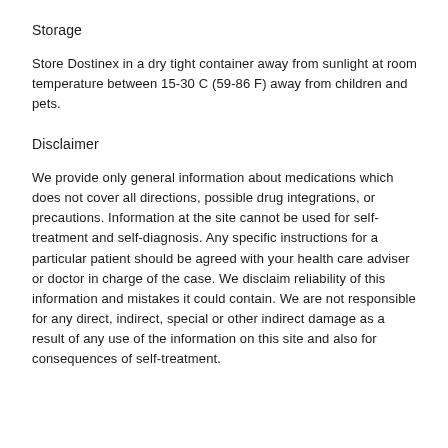Storage
Store Dostinex in a dry tight container away from sunlight at room temperature between 15-30 C (59-86 F) away from children and pets.
Disclaimer
We provide only general information about medications which does not cover all directions, possible drug integrations, or precautions. Information at the site cannot be used for self-treatment and self-diagnosis. Any specific instructions for a particular patient should be agreed with your health care adviser or doctor in charge of the case. We disclaim reliability of this information and mistakes it could contain. We are not responsible for any direct, indirect, special or other indirect damage as a result of any use of the information on this site and also for consequences of self-treatment.